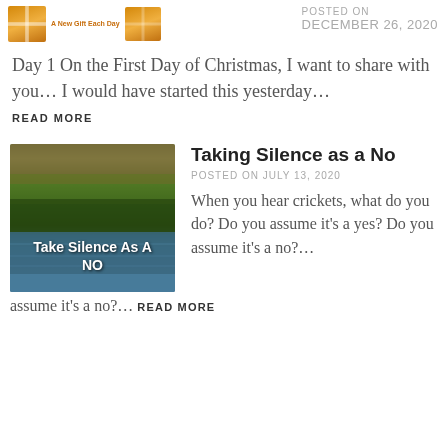[Figure (illustration): Two gift box icons with a 'A New Gift Each Day' label between them, in orange/gold tones]
POSTED ON
DECEMBER 26, 2020
Day 1 On the First Day of Christmas, I want to share with you… I would have started this yesterday…
READ MORE
[Figure (photo): Outdoor photograph of a pond or lake with reeds, trees reflected in water, with text overlay 'Take Silence As A NO']
Taking Silence as a No
POSTED ON JULY 13, 2020
When you hear crickets, what do you do? Do you assume it's a yes? Do you assume it's a no?… READ MORE